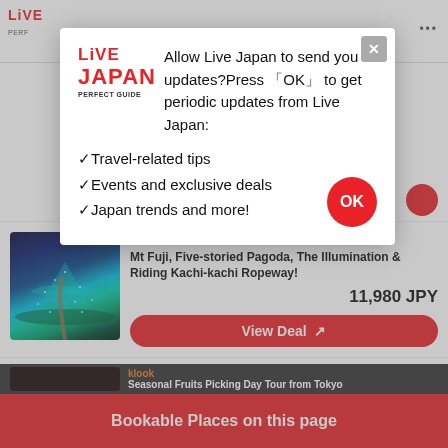[Figure (screenshot): Live Japan Perfect Guide website navigation bar with logo and menu dots]
[Figure (infographic): Popup dialog asking user to allow Live Japan to send updates, with OK button]
klook
Mt Fuji, Five-storied Pagoda, The Illumination & Riding Kachi-kachi Ropeway!
11,980 JPY
View Deal
klook
Seasonal Fruits Picking Day Tour from Tokyo
Bookable Places on this page